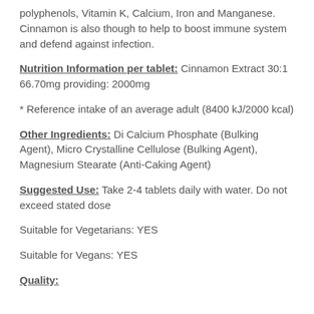polyphenols, Vitamin K, Calcium, Iron and Manganese. Cinnamon is also though to help to boost immune system and defend against infection.
Nutrition Information per tablet: Cinnamon Extract 30:1 66.70mg providing: 2000mg
* Reference intake of an average adult (8400 kJ/2000 kcal)
Other Ingredients: Di Calcium Phosphate (Bulking Agent), Micro Crystalline Cellulose (Bulking Agent), Magnesium Stearate (Anti-Caking Agent)
Suggested Use: Take 2-4 tablets daily with water. Do not exceed stated dose
Suitable for Vegetarians: YES
Suitable for Vegans: YES
Quality: ...